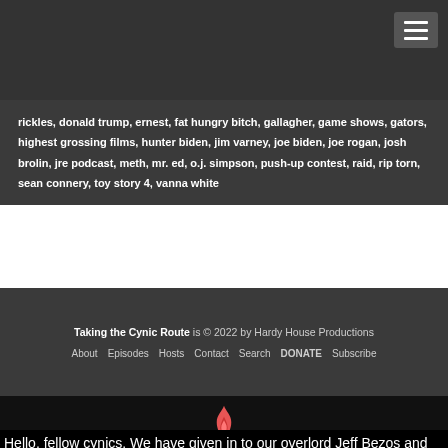[Figure (other): Hamburger menu icon (three horizontal lines) in top right corner on dark background]
rickles, donald trump, ernest, fat hungry bitch, gallagher, game shows, gators, highest grossing films, hunter biden, jim varney, joe biden, joe rogan, josh brolin, jre podcast, meth, mr. ed, o.j. simpson, push-up contest, raid, rip torn, sean connery, toy story 4, vanna white
Taking the Cynic Route is © 2022 by Hardy House Productions
About  Episodes  Hosts  Contact  Search  DONATE  Subscribe
[Figure (logo): Fireside flame logo in red/pink color]
Powered by Fireside
Hello, fellow cynics. We have given in to our overlord Jeff Bezos and are now affiliated with Amazon. We earn a